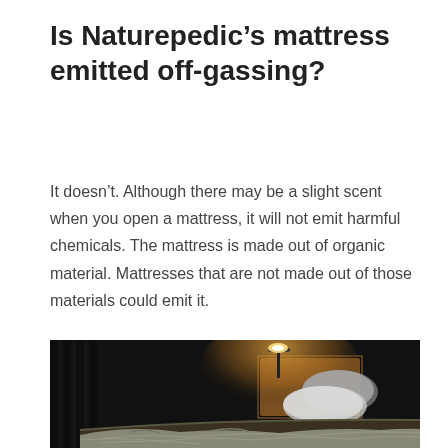Is Naturepedic’s mattress emitted off-gassing?
It doesn’t. Although there may be a slight scent when you open a mattress, it will not emit harmful chemicals. The mattress is made out of organic material. Mattresses that are not made out of those materials could emit it.
[Figure (photo): Dark bedroom photo showing a bed with white rumpled sheets and pillows, a headboard, and a small desk lamp glowing with warm amber light against a very dark background.]